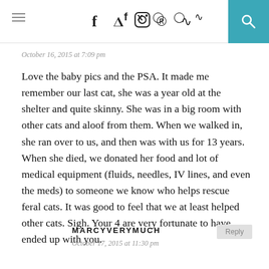social navigation bar with hamburger menu, social icons (f, twitter, instagram, pinterest, rss), and search button
October 16, 2015 at 7:09 pm
Love the baby pics and the PSA. It made me remember our last cat, she was a year old at the shelter and quite skinny. She was in a big room with other cats and aloof from them. When we walked in, she ran over to us, and then was with us for 13 years. When she died, we donated her food and lot of medical equipment (fluids, needles, IV lines, and even the meds) to someone we know who helps rescue feral cats. It was good to feel that we at least helped other cats. Sigh. Your 4 are very fortunate to have ended up with you.
MARCYVERYMUCH
October 17, 2015 at 11:30 pm